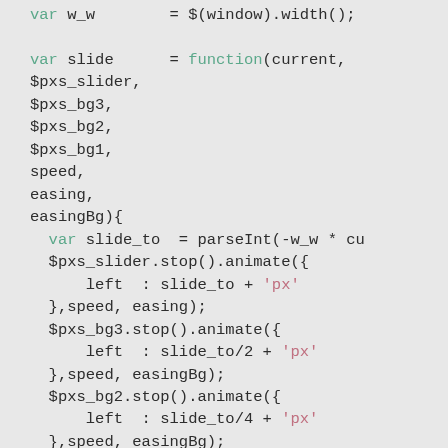var w_w        = $(window).width();

var slide      = function(current,
$pxs_slider,
$pxs_bg3,
$pxs_bg2,
$pxs_bg1,
speed,
easing,
easingBg){
    var slide_to  = parseInt(-w_w * cu
    $pxs_slider.stop().animate({
        left  : slide_to + 'px'
    },speed, easing);
    $pxs_bg3.stop().animate({
        left  : slide_to/2 + 'px'
    },speed, easingBg);
    $pxs_bg2.stop().animate({
        left  : slide_to/4 + 'px'
    },speed, easingBg);